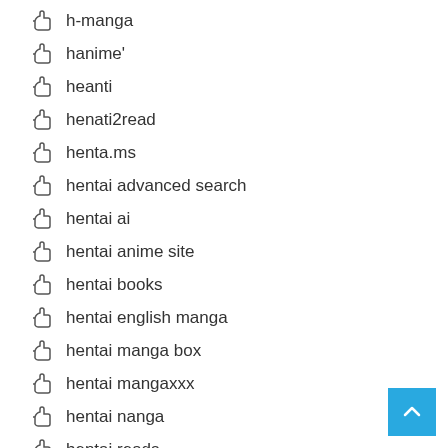h-manga
hanime'
heanti
henati2read
henta.ms
hentai advanced search
hentai ai
hentai anime site
hentai books
hentai english manga
hentai manga box
hentai mangaxxx
hentai nanga
hentai reads
hentai strea,